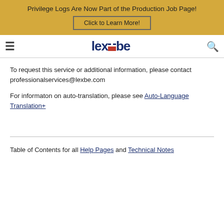Privilege Logs Are Now Part of the Production Job Page!
Click to Learn More!
[Figure (logo): Lexbe logo with hamburger menu and search icon in navigation bar]
To request this service or additional information, please contact professionalservices@lexbe.com
For informaton on auto-translation, please see Auto-Language Translation+
Table of Contents for all Help Pages and Technical Notes